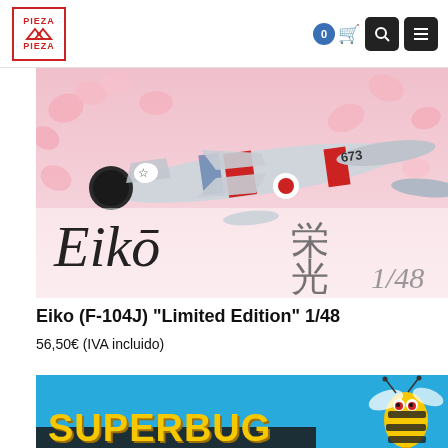[Figure (logo): Pieza a Pieza logo — red bordered box with triangles and text]
[Figure (photo): F-104J Starfighter model kit box art titled Eiko with Japanese text and 1/48 scale, pink cherry blossom background]
Eiko (F-104J) “Limited Edition” 1/48
56,50€ (IVA incluido)
[Figure (photo): Superbug model kit banner with blue background, yellow SUPERBUG text and cartoon wasp character]